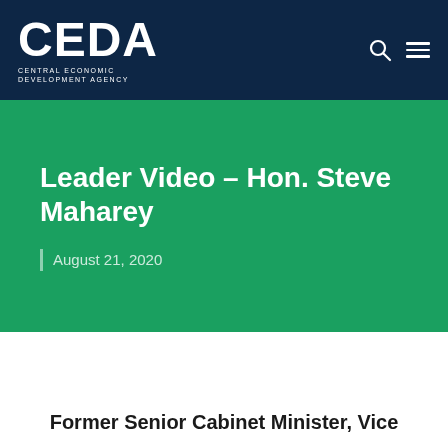CEDA Central Economic Development Agency
Leader Video – Hon. Steve Maharey
August 21, 2020
Former Senior Cabinet Minister, Vice